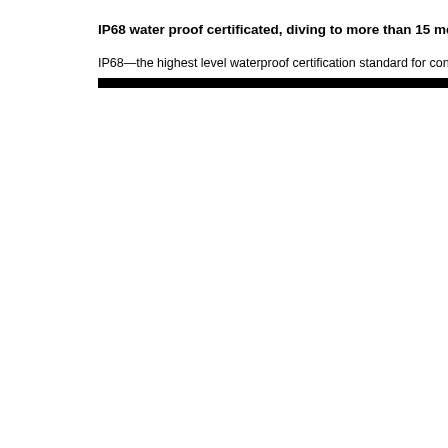IP68 water proof certificated, diving to more than 15 meters
IP68—the highest level waterproof certification standard for connec
[Figure (other): Black horizontal divider bar]